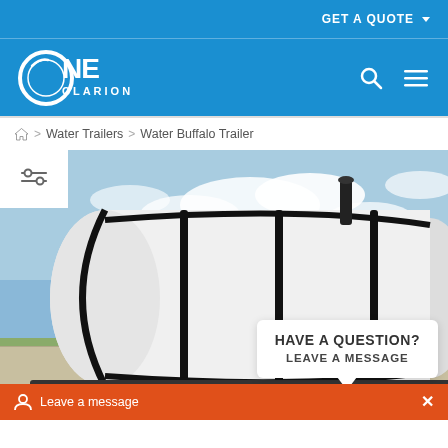GET A QUOTE ▾
[Figure (logo): One Clarion logo — white oval 'O' with 'NE' and 'CLARION' text on blue background]
🏠 > Water Trailers > Water Buffalo Trailer
[Figure (photo): White cylindrical water buffalo trailer tank with black metal straps, mounted on a wheeled trailer chassis, photographed outdoors against a cloudy sky]
HAVE A QUESTION? LEAVE A MESSAGE
Leave a message